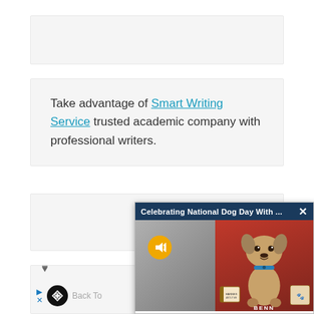[Figure (other): Gray advertisement placeholder box at top of page]
Take advantage of Smart Writing Service trusted academic company with professional writers.
[Figure (other): Gray advertisement placeholder box in middle of page]
[Figure (other): Gray advertisement placeholder box lower left]
[Figure (screenshot): Video popup overlay titled 'Celebrating National Dog Day With ...' showing a small Yorkshire terrier dog against a red background with a mute button and close X button. Bottom shows 'BENN' text label.]